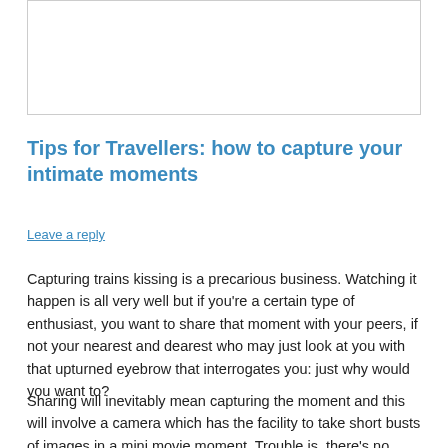[Figure (other): Image placeholder box at top of page]
Tips for Travellers: how to capture your intimate moments
Leave a reply
Capturing trains kissing is a precarious business. Watching it happen is all very well but if you're a certain type of enthusiast, you want to share that moment with your peers, if not your nearest and dearest who may just look at you with that upturned eyebrow that interrogates you: just why would you want to?
Sharing will inevitably mean capturing the moment and this will involve a camera which has the facility to take short busts of images in a mini movie moment. Trouble is, there's no